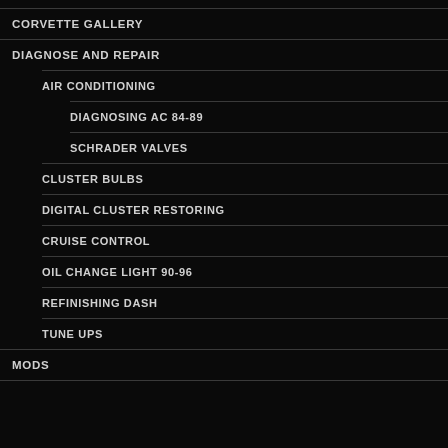CORVETTE GALLERY
DIAGNOSE AND REPAIR
AIR CONDITIONING
DIAGNOSING AC 84-89
SCHRADER VALVES
CLUSTER BULBS
DIGITAL CLUSTER RESTORING
CRUISE CONTROL
OIL CHANGE LIGHT 90-96
REFINISHING DASH
TUNE UPS
MODS